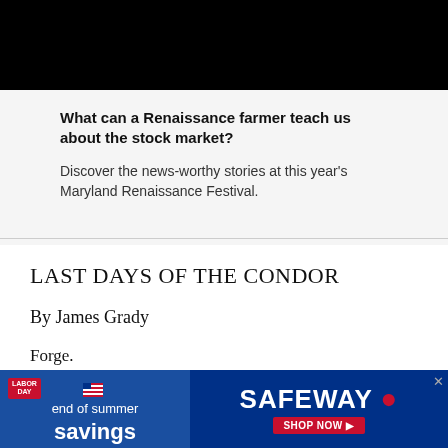[Figure (other): Black banner image at top of page]
What can a Renaissance farmer teach us about the stock market?
Discover the news-worthy stories at this year's Maryland Renaissance Festival.
LAST DAYS OF THE CONDOR
By James Grady
Forge.
300 pp.
[Figure (advertisement): Safeway Labor Day end of summer savings advertisement banner]